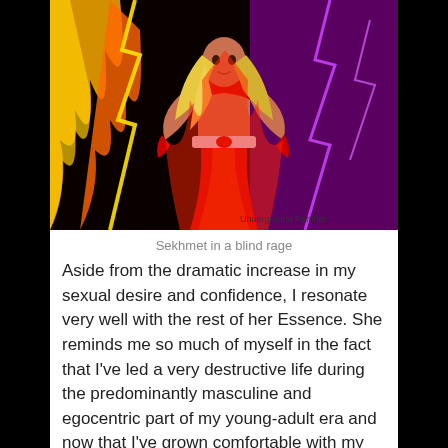[Figure (illustration): Digital artwork of Sekhmet, a powerful female figure in red clothing with flames and lightning around her. Watermark reads 'Underground Panther'.]
Sekhmet in a blind rage
Aside from the dramatic increase in my sexual desire and confidence, I resonate very well with the rest of her Essence. She reminds me so much of myself in the fact that I've led a very destructive life during the predominantly masculine and egocentric part of my young-adult era and now that I've grown comfortable with my gentle, feminine side I feel more balanced; able to soothe the beast within me